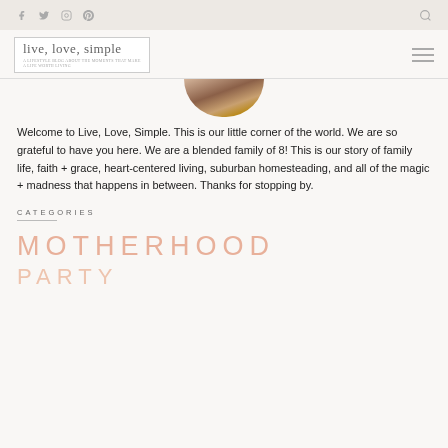Social icons: Facebook, Twitter, Instagram, Pinterest, Search
[Figure (logo): Live, Love, Simple blog logo with cursive text and tagline]
[Figure (photo): Circular cropped photo of a person or family scene with warm tones]
Welcome to Live, Love, Simple. This is our little corner of the world. We are so grateful to have you here. We are a blended family of 8! This is our story of family life, faith + grace, heart-centered living, suburban homesteading, and all of the magic + madness that happens in between. Thanks for stopping by.
CATEGORIES
MOTHERHOOD
PARTY